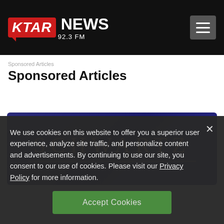KTAR NEWS 92.3 FM
Sponsored Articles
[Figure (logo): Schwartz logo on dark navy blue background with gold/bronze serif text reading SCHWARTZ with a horizontal line below]
We use cookies on this website to offer you a superior user experience, analyze site traffic, and personalize content and advertisements. By continuing to use our site, you consent to our use of cookies. Please visit our Privacy Policy for more information.
Accept Cookies